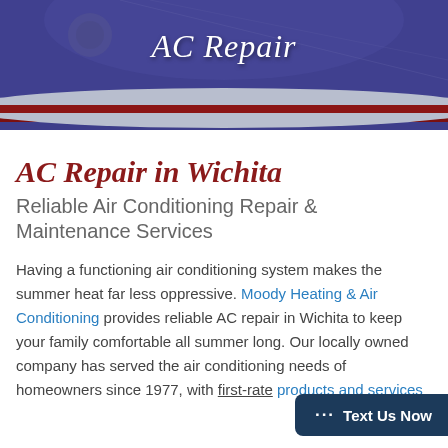AC Repair
AC Repair in Wichita
Reliable Air Conditioning Repair & Maintenance Services
Having a functioning air conditioning system makes the summer heat far less oppressive. Moody Heating & Air Conditioning provides reliable AC repair in Wichita to keep your family comfortable all summer long. Our locally owned company has served the air conditioning needs of homeowners since 1977, with first-rate products and services